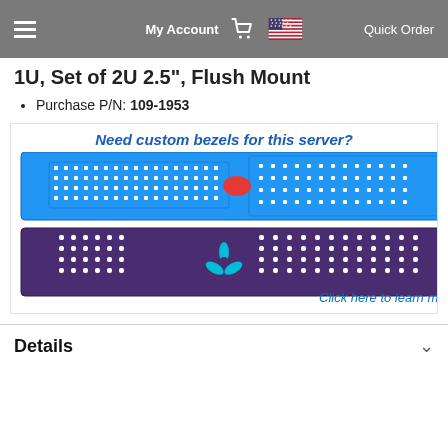My Account  Quick Order
1U, Set of 2U 2.5", Flush Mount
Purchase P/N: 109-1953
[Figure (infographic): Ad banner showing custom bezels for servers. Text: Need custom bezels for this server? Shows blue and purple server bezel panels. Click here to learn more.]
Details